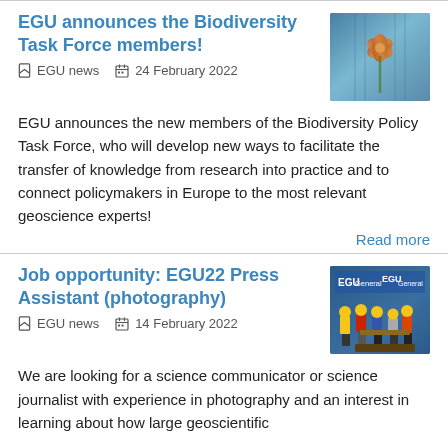EGU announces the Biodiversity Task Force members!
EGU news   24 February 2022
[Figure (photo): Photo of orange flowers against a blue background]
EGU announces the new members of the Biodiversity Policy Task Force, who will develop new ways to facilitate the transfer of knowledge from research into practice and to connect policymakers in Europe to the most relevant geoscience experts!
Read more
Job opportunity: EGU22 Press Assistant (photography)
EGU news   14 February 2022
[Figure (photo): Photo of LEGO figurines in front of EGU General Assembly banners]
We are looking for a science communicator or science journalist with experience in photography and an interest in learning about how large geoscientific